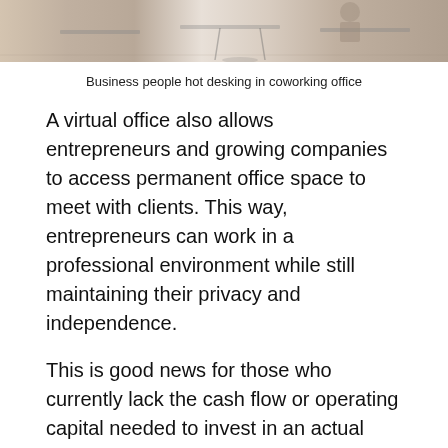[Figure (photo): Business people hot desking in a coworking office — partial view showing desks, chairs, and people working]
Business people hot desking in coworking office
A virtual office also allows entrepreneurs and growing companies to access permanent office space to meet with clients. This way, entrepreneurs can work in a professional environment while still maintaining their privacy and independence.
This is good news for those who currently lack the cash flow or operating capital needed to invest in an actual office space. Virtual office in Kuala Lumpur provides businesses with affordable alternatives that include all the conveniences of a regular office without paying for any of the costs